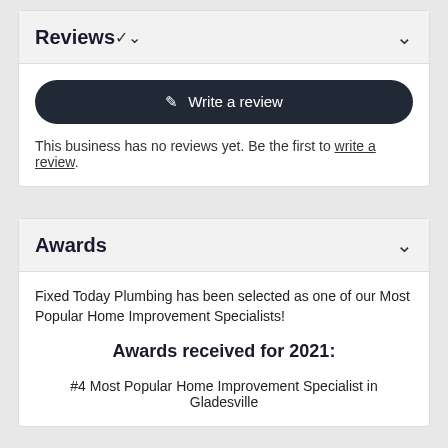Reviews
[Figure (other): Dark rounded button with pencil icon and text 'Write a review']
This business has no reviews yet. Be the first to write a review.
Awards
Fixed Today Plumbing has been selected as one of our Most Popular Home Improvement Specialists!
Awards received for 2021:
#4 Most Popular Home Improvement Specialist in Gladesville